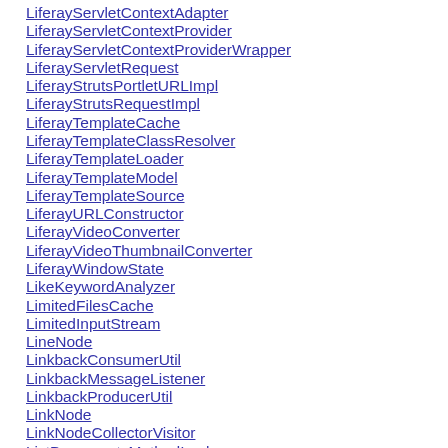LiferayServletContextAdapter
LiferayServletContextProvider
LiferayServletContextProviderWrapper
LiferayServletRequest
LiferayStrutsPortletURLImpl
LiferayStrutsRequestImpl
LiferayTemplateCache
LiferayTemplateClassResolver
LiferayTemplateLoader
LiferayTemplateModel
LiferayTemplateSource
LiferayURLConstructor
LiferayVideoConverter
LiferayVideoThumbnailConverter
LiferayWindowState
LikeKeywordAnalyzer
LimitedFilesCache
LimitedInputStream
LineNode
LinkbackConsumerUtil
LinkbackMessageListener
LinkbackProducerUtil
LinkNode
LinkNodeCollectorVisitor
ListDocumentsMethodImpl
ListDomainsAction
ListMBeansAction
ListNode
ListTree
ListType